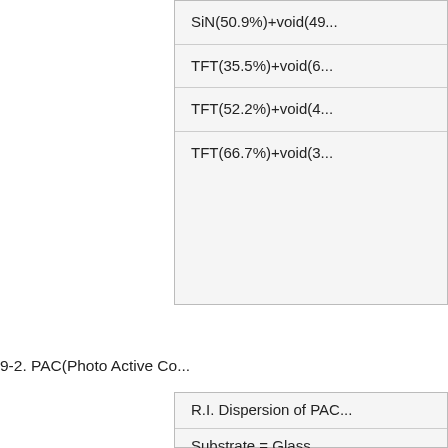SiN(50.9%)+void(4...
TFT(35.5%)+void(6...
TFT(52.2%)+void(4...
TFT(66.7%)+void(3...
9-2. PAC(Photo Active Co...
| R.I. Dispersion of PAC... |
| --- |
| Substrate = Glass |